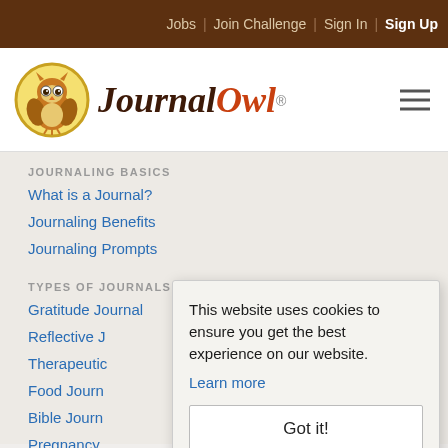Jobs | Join Challenge | Sign In | Sign Up
[Figure (logo): Journal Owl logo with owl mascot in yellow circle and italic serif text]
JOURNALING BASICS
What is a Journal?
Journaling Benefits
Journaling Prompts
TYPES OF JOURNALS
Gratitude Journal
Reflective J…
Therapeutic…
Food Journ…
Bible Journ…
Pregnancy…
Recovery J…
This website uses cookies to ensure you get the best experience on our website. Learn more. Got it!